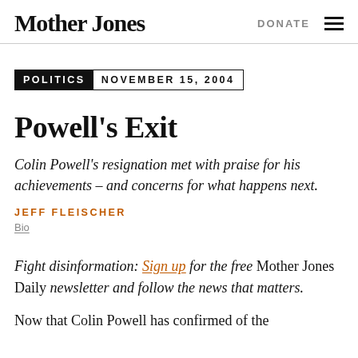Mother Jones | DONATE
POLITICS  NOVEMBER 15, 2004
Powell's Exit
Colin Powell's resignation met with praise for his achievements – and concerns for what happens next.
JEFF FLEISCHER
Bio
Fight disinformation: Sign up for the free Mother Jones Daily newsletter and follow the news that matters.
Now that Colin Powell has confirmed of the